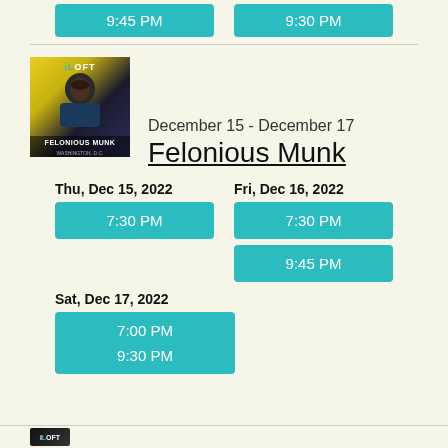9:45 PM
9:30 PM
[Figure (photo): Felonious Munk promotional poster from The Loft comedy club, featuring a man with a beard on a yellow/dark background]
December 15 - December 17
Felonious Munk
Thu, Dec 15, 2022
7:30 PM
Fri, Dec 16, 2022
7:30 PM
9:45 PM
Sat, Dec 17, 2022
7:00 PM
9:30 PM